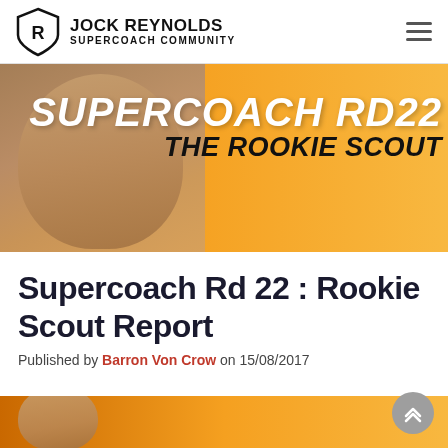JOCK REYNOLDS SUPERCOACH COMMUNITY
[Figure (photo): Banner image with orange background showing a bald bearded man's face on the left side, and bold white italic text 'SUPERCOACH RD22' with black italic text 'THE ROOKIE SCOUT' on the right side.]
Supercoach Rd 22 : Rookie Scout Report
Published by Barron Von Crow on 15/08/2017
[Figure (photo): Partial orange banner visible at the bottom of the page.]